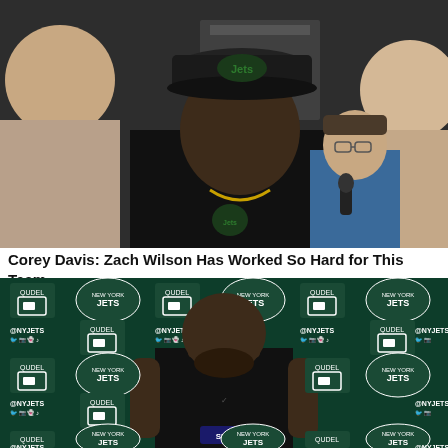[Figure (photo): Photo of a man wearing a New York Jets cap being interviewed in a locker room setting, with a reporter holding a microphone nearby]
Corey Davis: Zach Wilson Has Worked So Hard for This Team
[Figure (photo): Photo of a New York Jets player (Corey Davis) standing in front of a QUDEL/NY Jets branded press conference backdrop, wearing a black sleeveless shirt]